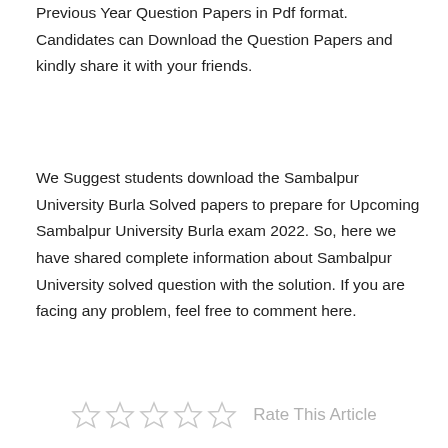Here we will provide Sambalpur University Previous Year Question Papers in Pdf format. Candidates can Download the Question Papers and kindly share it with your friends.
We Suggest students download the Sambalpur University Burla Solved papers to prepare for Upcoming Sambalpur University Burla exam 2022. So, here we have shared complete information about Sambalpur University solved question with the solution. If you are facing any problem, feel free to comment here.
[Figure (other): Five empty star rating icons followed by the text 'Rate This Article']